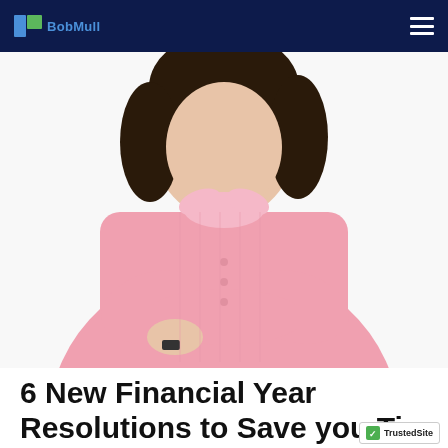BobMull [logo/navigation header]
[Figure (photo): Woman in a pink long-sleeve ruffled blouse standing with arms crossed, dark hair, white background]
6 New Financial Year Resolutions to Save you Ti...